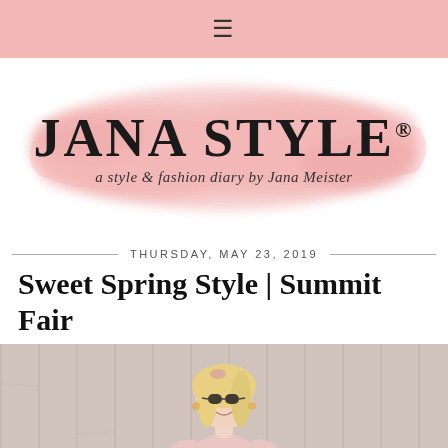≡
[Figure (logo): Jana Style blog logo with pink watercolor brush stroke background. Text reads: JANA STYLE® - a style & fashion diary by Jana Meister]
THURSDAY, MAY 23, 2019
Sweet Spring Style | Summit Fair
[Figure (photo): A woman in a pink floral off-shoulder dress with sunglasses, smiling, standing against a light gray wood panel wall background.]